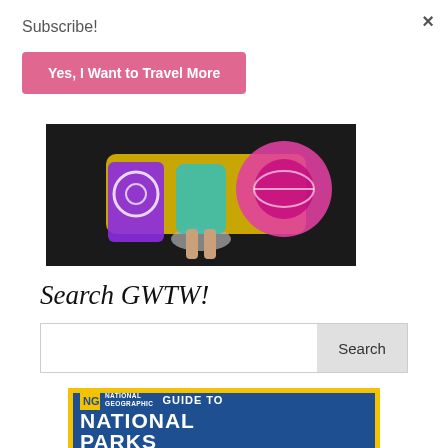×
Subscribe!
Yes, I Want to Travel More
[Figure (photo): Photo of a person near a yellow vehicle; overlaid with purple and pink graphic elements/stickers]
Search GWTW!
[Figure (other): National Geographic Guide to National Parks book cover with yellow border and blue background]